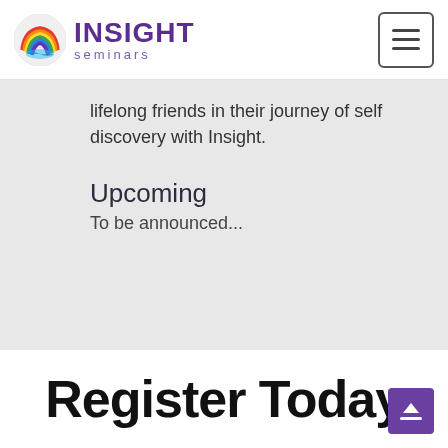INSIGHT seminars
lifelong friends in their journey of self discovery with Insight.
Upcoming
To be announced...
Register Today.